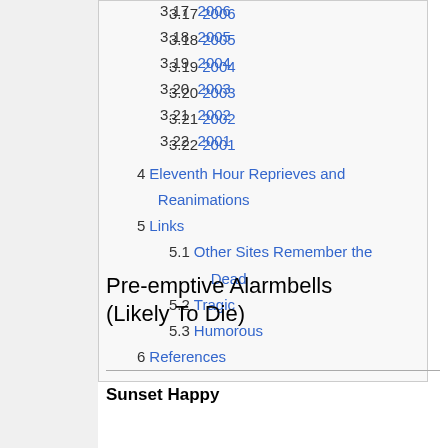3.17  2006
3.18  2005
3.19  2004
3.20  2003
3.21  2002
3.22  2001
4  Eleventh Hour Reprieves and Reanimations
5  Links
5.1  Other Sites Remember the Dead
5.2  Tragic
5.3  Humorous
6  References
Pre-emptive Alarmbells (Likely To Die)
Sunset Happy